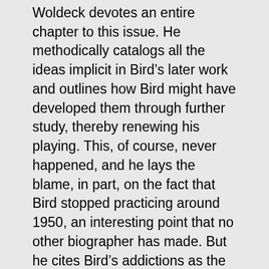Woldeck devotes an entire chapter to this issue. He methodically catalogs all the ideas implicit in Bird's later work and outlines how Bird might have developed them through further study, thereby renewing his playing. This, of course, never happened, and he lays the blame, in part, on the fact that Bird stopped practicing around 1950, an interesting point that no other biographer has made. But he cites Bird's addictions as the primary cause of stagnation, writing, “The likely effect of Parker’s addictions to heroin and alcohol on his ability to set and meet long-range goals such as formal study should also be considered.”
The real issue here is how much we should expect of Bird. It’s easy to take for granted that he could play a perfectly structured and emotionally meaningful solo every time he picked up his horn, but in fact that’s almost impossible. How long should we expect him to